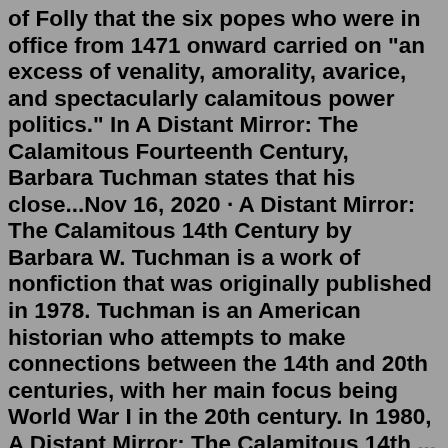of Folly that the six popes who were in office from 1471 onward carried on "an excess of venality, amorality, avarice, and spectacularly calamitous power politics." In A Distant Mirror: The Calamitous Fourteenth Century, Barbara Tuchman states that his close...Nov 16, 2020 · A Distant Mirror: The Calamitous 14th Century by Barbara W. Tuchman is a work of nonfiction that was originally published in 1978. Tuchman is an American historian who attempts to make connections between the 14th and 20th centuries, with her main focus being World War I in the 20th century. In 1980, A Distant Mirror: The Calamitous 14th ... Pictures from a Distant Time. Dreams. Edge of Forever. Mirror Infinite. Modular Works I. Shadows EP.A. Claude. Ranged Marksman, can summon a mirror image to draw enemies' attention. A. D. Franco. Melee Tank, capable of dragging a distant enemy towards himself. D. Hilda."We're not at an optimal state yet, commander.". This article is a stub. You can help us by expanding it. The credits end with the hexadecimal